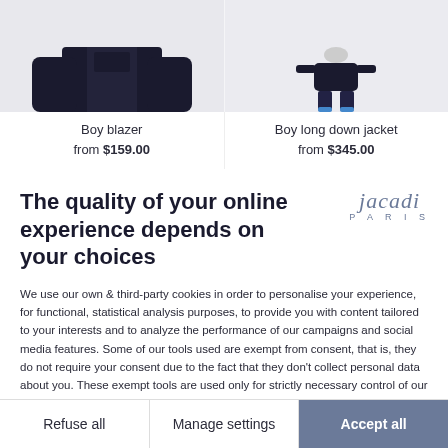[Figure (photo): Product image of boy blazer (top portion, dark navy)]
Boy blazer
from $159.00
[Figure (photo): Product image of boy in long down jacket with sneakers]
Boy long down jacket
from $345.00
[Figure (photo): Partial product row below, two cards visible with heart icons]
The quality of your online experience depends on your choices
[Figure (logo): Jacadi Paris brand logo in italic script]
We use our own & third-party cookies in order to personalise your experience, for functional, statistical analysis purposes, to provide you with content tailored to your interests and to analyze the performance of our campaigns and social media features. Some of our tools used are exempt from consent, that is, they do not require your consent due to the fact that they don't collect personal data about you. These exempt tools are used only for strictly necessary control of our performance and customization of our site. No secret between us, you have the possibility to accept all our cookies or to partially refuse to see them in full on your
Refuse all
Manage settings
Accept all